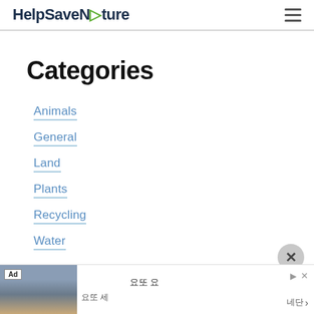HelpSaveNature
Categories
Animals
General
Land
Plants
Recycling
Water
Search
[Figure (other): Advertisement banner at bottom of page with Korean text and a photo of a building/person]